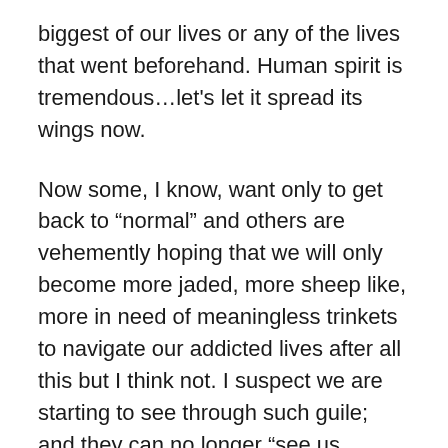biggest of our lives or any of the lives that went beforehand. Human spirit is tremendous…let's let it spread its wings now.
Now some, I know, want only to get back to “normal” and others are vehemently hoping that we will only become more jaded, more sheep like, more in need of meaningless trinkets to navigate our addicted lives after all this but I think not. I suspect we are starting to see through such guile; and they can no longer “see us coming”…for we are coming in a whole new way. I suspect we are about to see a tremendous upsurge in the human spirit and, in its wake, a wave of the truest kind of human intuitive and creativity, like never before. I intuit that, across all these weeks of being sent to our room to reconsider our behaviour, we are clearing some of the plaque from our arteries, the scales from our eyes and the lead from our